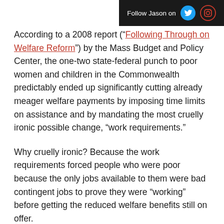Follow Jason on
According to a 2008 report (“Following Through on Welfare Reform”) by the Mass Budget and Policy Center, the one-two state-federal punch to poor women and children in the Commonwealth predictably ended up significantly cutting already meager welfare payments by imposing time limits on assistance and by mandating the most cruelly ironic possible change, “work requirements.”
Why cruelly ironic? Because the work requirements forced people who were poor because the only jobs available to them were bad contingent jobs to prove they were “working” before getting the reduced welfare benefits still on offer.